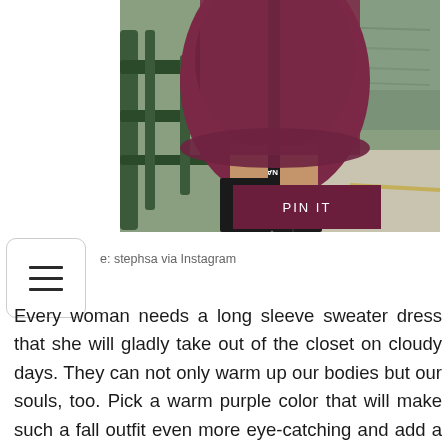[Figure (photo): Fashion photo showing lower body of a person wearing a dark burgundy/purple long sleeve sweater dress with a branded belt (NA-KD NA-) and black knee-high boots, standing near metal railings with a river/water background]
e: stephsa via Instagram
Every woman needs a long sleeve sweater dress that she will gladly take out of the closet on cloudy days. They can not only warm up our bodies but our souls, too. Pick a warm purple color that will make such a fall outfit even more eye-catching and add a super stylish belt that will complete the look.